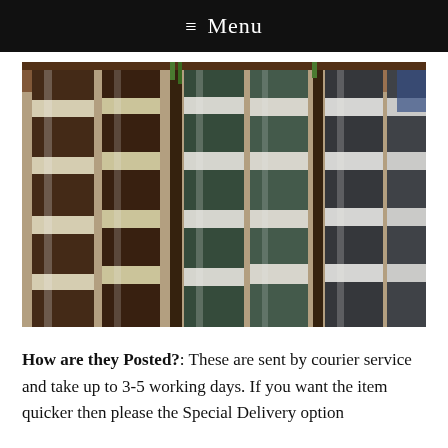≡ Menu
[Figure (photo): Rolls of striped fabric/wallpaper standing upright, showing multiple color combinations: brown and cream stripes, dark green and white stripes, and dark gray/charcoal and white stripes, wrapped in clear plastic packaging, leaning against a wooden surface.]
How are they Posted?: These are sent by courier service and take up to 3-5 working days. If you want the item quicker then please the Special Delivery option